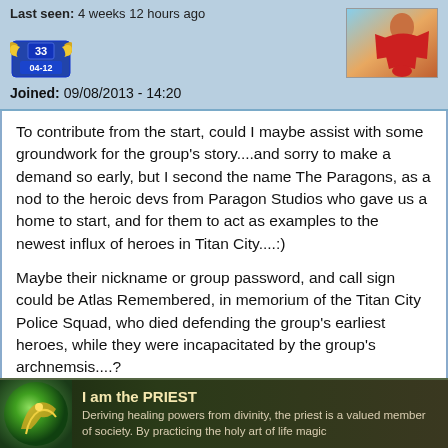Last seen: 4 weeks 12 hours ago
[Figure (illustration): Badge icon with number 33 and text 04-12, gold wing emblem]
Joined: 09/08/2013 - 14:20
[Figure (illustration): Avatar image showing a superhero character in orange/red costume]
To contribute from the start, could I maybe assist with some groundwork for the group's story....and sorry to make a demand so early, but I second the name The Paragons, as a nod to the heroic devs from Paragon Studios who gave us a home to start, and for them to act as examples to the newest influx of heroes in Titan City....:)

Maybe their nickname or group password, and call sign could be Atlas Remembered, in memorium of the Titan City Police Squad, who died defending the group's earliest heroes, while they were incapacitated by the group's archnemsis....?
—
[Figure (illustration): Bottom banner showing 'I am the PRIEST' with fantasy character art and text: Deriving healing powers from divinity, the priest is a valued member of society. By practicing the holy art of life magic]